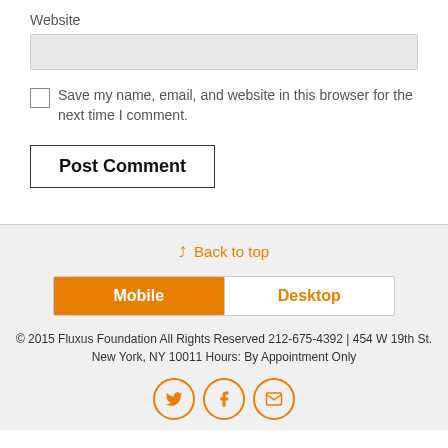Website
Save my name, email, and website in this browser for the next time I comment.
Post Comment
Back to top
Mobile | Desktop
© 2015 Fluxus Foundation All Rights Reserved 212-675-4392 | 454 W 19th St. New York, NY 10011 Hours: By Appointment Only